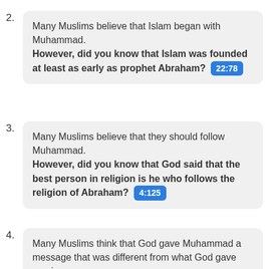2. Many Muslims believe that Islam began with Muhammad. However, did you know that Islam was founded at least as early as prophet Abraham? 22:78
3. Many Muslims believe that they should follow Muhammad. However, did you know that God said that the best person in religion is he who follows the religion of Abraham? 4:125
4. Many Muslims think that God gave Muhammad a message that was different from what God gave previous messengers.